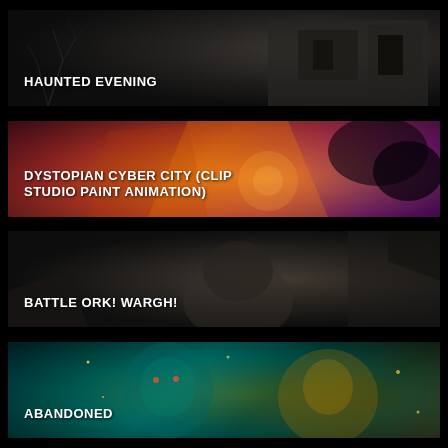[Figure (illustration): Dark haunted scene with bare branches and a dimly lit building or shed in the background, monochrome grey/black tones]
HAUNTED EVENING
[Figure (illustration): Dystopian cyber city animation still with orange, red, and purple tones, featuring geometric shapes and foliage silhouettes]
DYSTOPIAN CYBER CITY (CLIP STUDIO PAINT ANIMATION)
[Figure (illustration): Dark fantasy battle scene with an ork character, muted browns and greys with dramatic lighting]
BATTLE ORK! WARGH!
[Figure (illustration): Fantasy/sci-fi scene with glowing figure faces bathed in teal and gold light with sparkles against a dark background]
ABANDONED